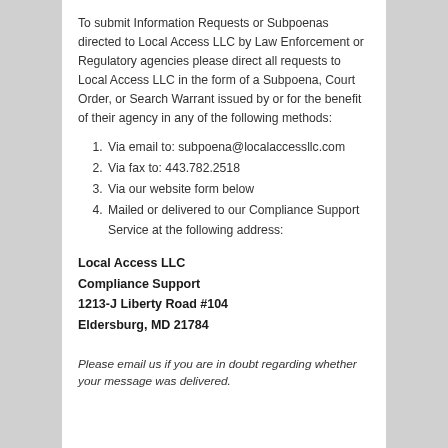To submit Information Requests or Subpoenas directed to Local Access LLC by Law Enforcement or Regulatory agencies please direct all requests to Local Access LLC in the form of a Subpoena, Court Order, or Search Warrant issued by or for the benefit of their agency in any of the following methods:
Via email to: subpoena@localaccessllc.com
Via fax to: 443.782.2518
Via our website form below
Mailed or delivered to our Compliance Support Service at the following address:
Local Access LLC
Compliance Support
1213-J Liberty Road #104
Eldersburg, MD 21784
Please email us if you are in doubt regarding whether your message was delivered.